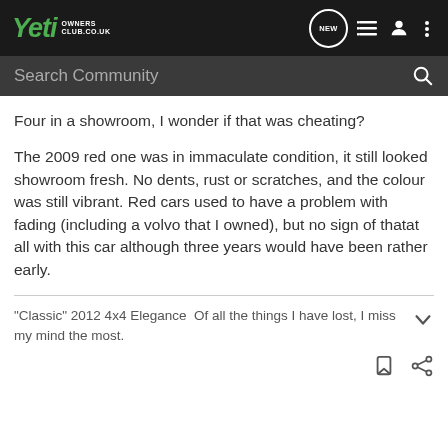Yeti Owners Club.co.uk — navigation bar with search
Four in a showroom, I wonder if that was cheating?
The 2009 red one was in immaculate condition, it still looked showroom fresh. No dents, rust or scratches, and the colour was still vibrant. Red cars used to have a problem with fading (including a volvo that I owned), but no sign of thatat all with this car although three years would have been rather early.
"Classic" 2012 4x4 Elegance Of all the things I have lost, I miss my mind the most.